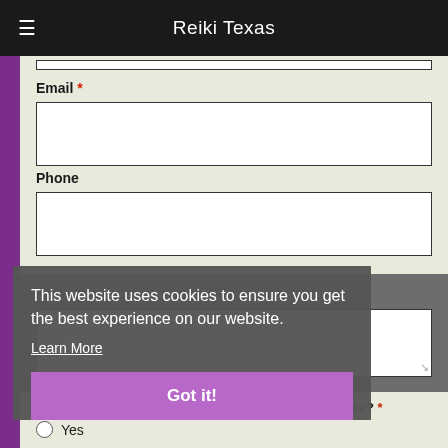Reiki Texas
Email *
Phone
Message
This website uses cookies to ensure you get the best experience on our website.
Learn More
Got it!
Would you like to receive emails from us in the future? *
Yes